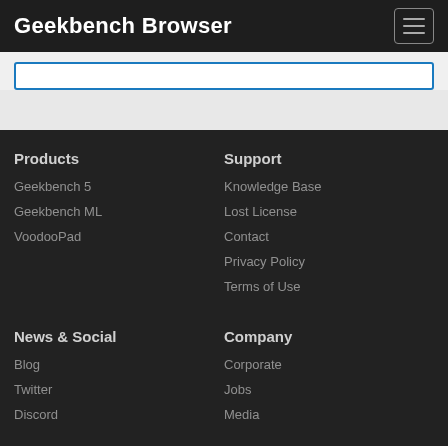Geekbench Browser
Products
Geekbench 5
Geekbench ML
VoodooPad
Support
Knowledge Base
Lost License
Contact
Privacy Policy
Terms of Use
News & Social
Blog
Twitter
Discord
Company
Corporate
Jobs
Media